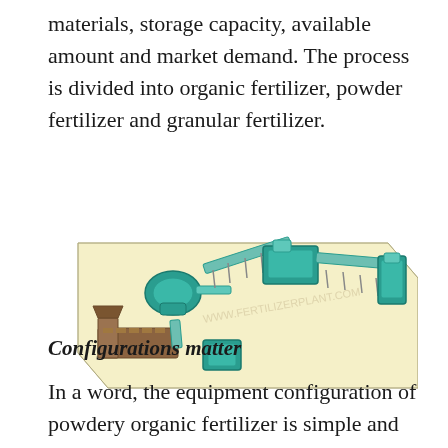materials, storage capacity, available amount and market demand. The process is divided into organic fertilizer, powder fertilizer and granular fertilizer.
[Figure (engineering-diagram): 3D isometric rendering of an organic fertilizer production facility layout on a light yellow platform, showing industrial equipment including conveyors, mixing/granulating machines, a brown L-shaped feeder/composter unit at bottom-left, teal-colored granulators and processing units connected by inclined belt conveyors.]
Configurations matter
In a word, the equipment configuration of powdery organic fertilizer is simple and the